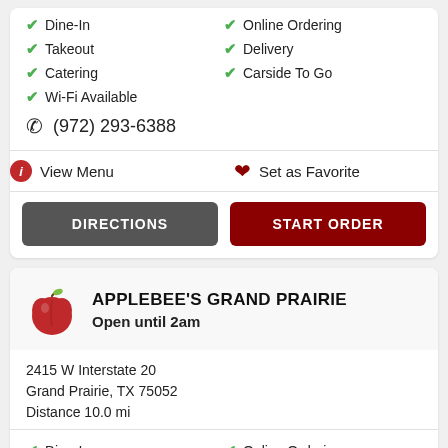✔ Dine-In
✔ Online Ordering
✔ Takeout
✔ Delivery
✔ Catering
✔ Carside To Go
✔ Wi-Fi Available
(972) 293-6388
View Menu
Set as Favorite
DIRECTIONS
START ORDER
APPLEBEE'S GRAND PRAIRIE
Open until 2am
2415 W Interstate 20
Grand Prairie, TX 75052
Distance 10.0 mi
✔ Dine-In
✔ Online Ordering
✔ Takeout
✔ Delivery
✔ Catering
✔ Carside To Go
✔ Wi-Fi Available